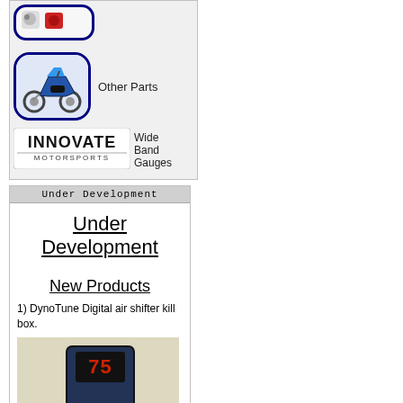[Figure (screenshot): Navigation panel with partially visible first item (small icons), then motorcycle image with blue rounded border labeled Other Parts, then Innovate Motorsports logo labeled Wide Band Gauges]
Other Parts
Wide Band Gauges
Under Development
Under Development
New Products
1) DynoTune Digital air shifter kill box.
[Figure (photo): Photo of a digital air shifter kill box device showing a display reading 75 with DELAY and KILL labels, and a coin for scale]